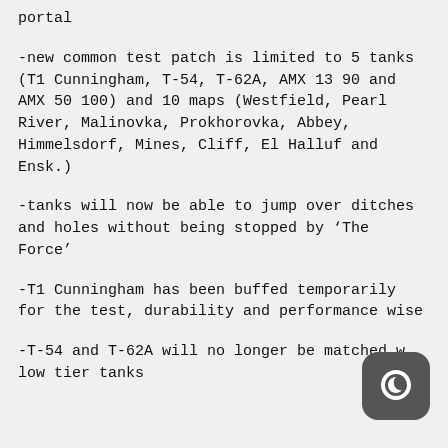portal
-new common test patch is limited to 5 tanks (T1 Cunningham, T-54, T-62A, AMX 13 90 and AMX 50 100) and 10 maps (Westfield, Pearl River, Malinovka, Prokhorovka, Abbey, Himmelsdorf, Mines, Cliff, El Halluf and Ensk.)
-tanks will now be able to jump over ditches and holes without being stopped by ‘The Force’
-T1 Cunningham has been buffed temporarily for the test, durability and performance wise
-T-54 and T-62A will no longer be matched with low tier tanks